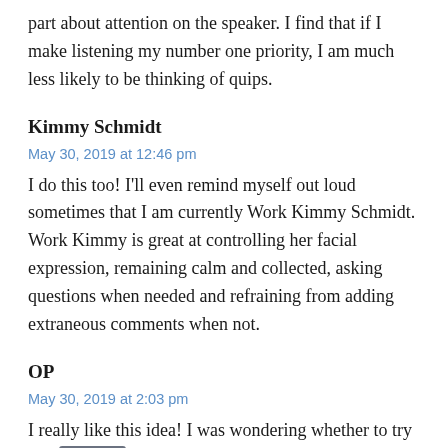part about attention on the speaker. I find that if I make listening my number one priority, I am much less likely to be thinking of quips.
Kimmy Schmidt
May 30, 2019 at 12:46 pm
I do this too! I'll even remind myself out loud sometimes that I am currently Work Kimmy Schmidt. Work Kimmy is great at controlling her facial expression, remaining calm and collected, asking questions when needed and refraining from adding extraneous comments when not.
OP
May 30, 2019 at 2:03 pm
I really like this idea! I was wondering whether to try and imagine I was one of my super professional colleagues but actually a more professional alter ego would be better. I